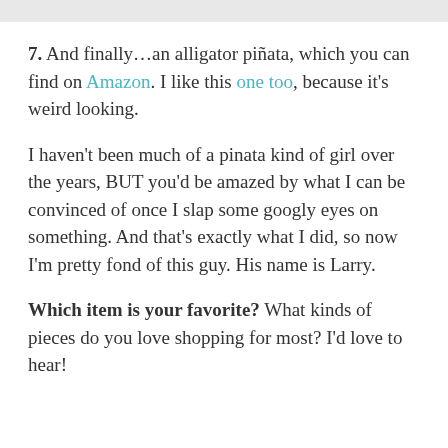7. And finally…an alligator piñata, which you can find on Amazon. I like this one too, because it's weird looking.
I haven't been much of a pinata kind of girl over the years, BUT you'd be amazed by what I can be convinced of once I slap some googly eyes on something. And that's exactly what I did, so now I'm pretty fond of this guy. His name is Larry.
Which item is your favorite? What kinds of pieces do you love shopping for most? I'd love to hear!